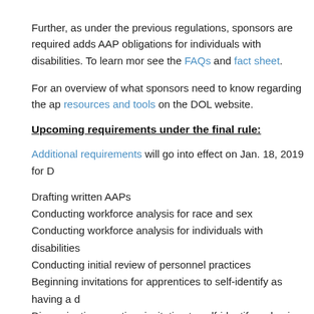Further, as under the previous regulations, sponsors are required adds AAP obligations for individuals with disabilities. To learn mor see the FAQs and fact sheet.
For an overview of what sponsors need to know regarding the ap resources and tools on the DOL website.
Upcoming requirements under the final rule:
Additional requirements will go into effect on Jan. 18, 2019 for D
Drafting written AAPs
Conducting workforce analysis for race and sex
Conducting workforce analysis for individuals with disabilities
Conducting initial review of personnel practices
Beginning invitations for apprentices to self-identify as having a d
Disseminating one-time invitation to self-identify as having a disab
Continue to monitor Newsline for more information on the final ru